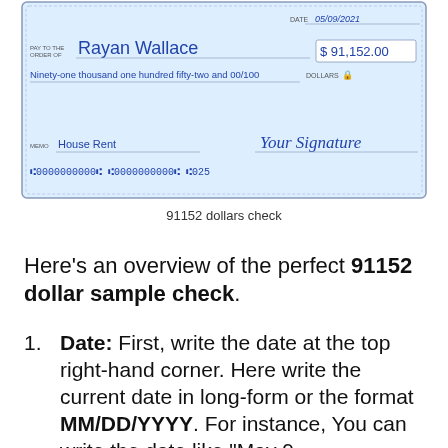[Figure (illustration): A sample check made out to Rayan Wallace for $91,152.00 dated 05/09/2021, memo House Rent, with signature 'Your Signature', routing and account numbers shown at the bottom.]
91152 dollars check
Here's an overview of the perfect 91152 dollar sample check.
Date: First, write the date at the top right-hand corner. Here write the current date in long-form or the format MM/DD/YYYY. For instance, You can write the date like "May 9, 2021" or "05/09/2021"